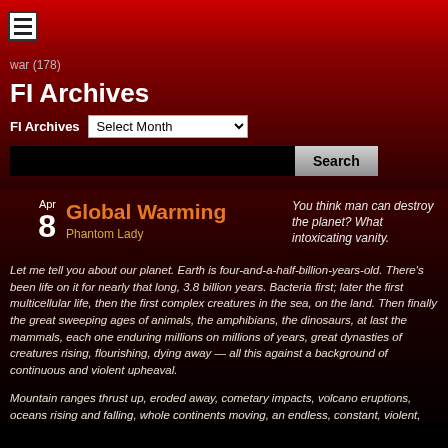≡
war (178)
FI Archives
FI Archives  Select Month
Search
Global Warming
Apr 8
Phantom Lady
You think man can destroy the planet? What intoxicating vanity.
Let me tell you about our planet. Earth is four-and-a-half-billion-years-old. There's been life on it for nearly that long, 3.8 billion years. Bacteria first; later the first multicellular life, then the first complex creatures in the sea, on the land. Then finally the great sweeping ages of animals, the amphibians, the dinosaurs, at last the mammals, each one enduring millions on millions of years, great dynasties of creatures rising, flourishing, dying away — all this against a background of continuous and violent upheaval.
Mountain ranges thrust up, eroded away, cometary impacts, volcano eruptions, oceans rising and falling, whole continents moving, an endless, constant, violent,